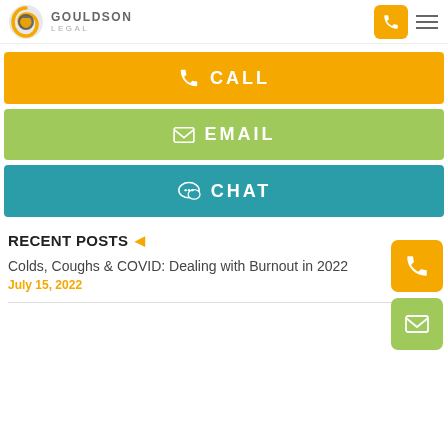Gouldson Legal
CALL
EMAIL
CHAT
RECENT POSTS
Colds, Coughs & COVID: Dealing with Burnout in 2022
July 15, 2022